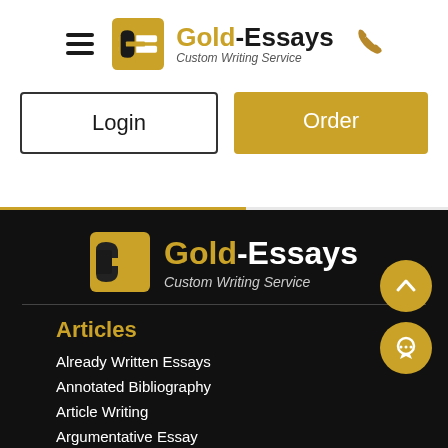[Figure (logo): Gold-Essays logo with hamburger menu and phone icon in white header navigation bar]
Login
Order
[Figure (logo): Gold-Essays Custom Writing Service logo large version on dark background]
Articles
Already Written Essays
Annotated Bibliography
Article Writing
Argumentative Essay
Article Critique
Article Review
Buy Essay
Blog Article